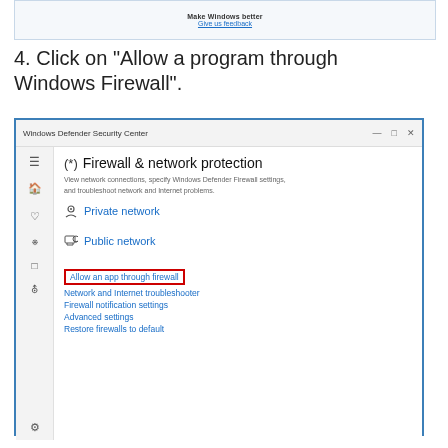[Figure (screenshot): Top portion of a Windows dialog or webpage showing a link 'Give us feedback']
4. Click on "Allow a program through Windows Firewall".
[Figure (screenshot): Windows Defender Security Center window showing Firewall & network protection page with Private network, Public network sections, and links including 'Allow an app through firewall' (highlighted with red border), Network and Internet troubleshooter, Firewall notification settings, Advanced settings, Restore firewalls to default]